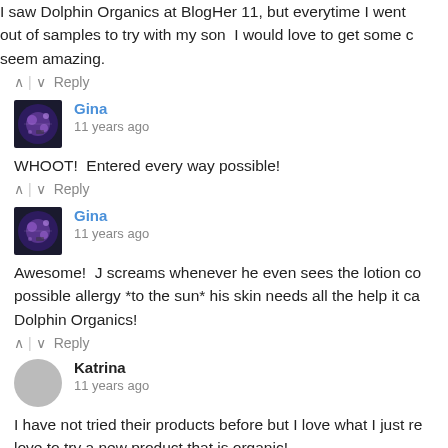I saw Dolphin Organics at BlogHer 11, but everytime I went out of samples to try with my son  I would love to get some c seem amazing.
^ | v  Reply
Gina
11 years ago
WHOOT!  Entered every way possible!
^ | v  Reply
Gina
11 years ago
Awesome!  J screams whenever he even sees the lotion co possible allergy *to the sun* his skin needs all the help it ca Dolphin Organics!
^ | v  Reply
Katrina
11 years ago
I have not tried their products before but I love what I just re love to try a new product that is organic!
^ | v  Reply